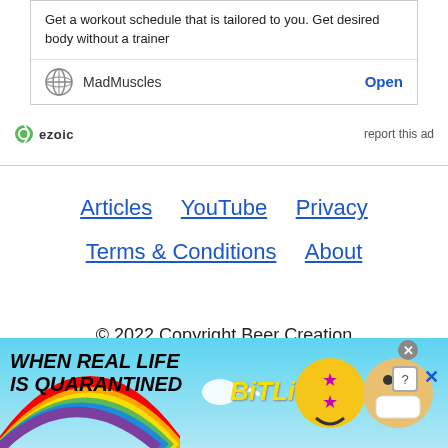Get a workout schedule that is tailored to you. Get desired body without a trainer
MadMuscles  Open
[Figure (logo): Ezoic logo with green circular icon and bold text 'ezoic']
report this ad
Articles   YouTube   Privacy
Terms & Conditions   About
© 2022 Copyright Beer Creation
[Figure (infographic): BitLife mobile game advertisement banner with rainbow, sperm icon, text 'WHEN REAL LIFE IS QUARANTINED' and BitLife logo with emoji characters]